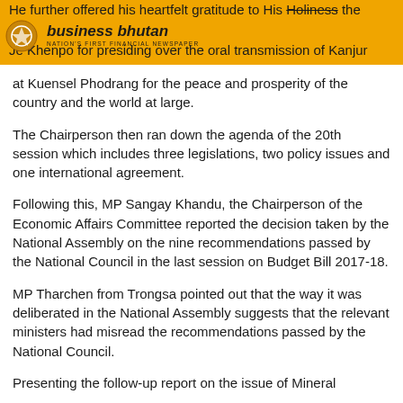He further offered his heartfelt gratitude to His Holiness the Je Khenpo for presiding over the oral transmission of Kanjur
at Kuensel Phodrang for the peace and prosperity of the country and the world at large.
The Chairperson then ran down the agenda of the 20th session which includes three legislations, two policy issues and one international agreement.
Following this, MP Sangay Khandu, the Chairperson of the Economic Affairs Committee reported the decision taken by the National Assembly on the nine recommendations passed by the National Council in the last session on Budget Bill 2017-18.
MP Tharchen from Trongsa pointed out that the way it was deliberated in the National Assembly suggests that the relevant ministers had misread the recommendations passed by the National Council.
Presenting the follow-up report on the issue of Mineral